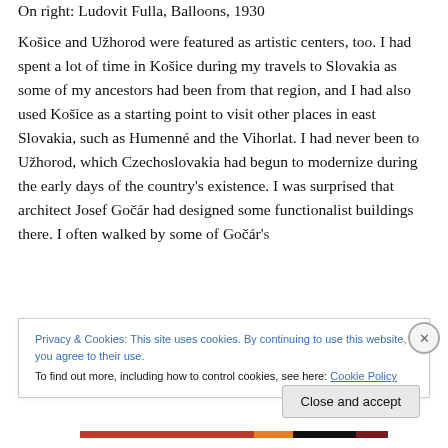On right: Ludovit Fulla, Balloons, 1930
Košice and Užhorod were featured as artistic centers, too. I had spent a lot of time in Košice during my travels to Slovakia as some of my ancestors had been from that region, and I had also used Košice as a starting point to visit other places in east Slovakia, such as Humenné and the Vihorlat. I had never been to Užhorod, which Czechoslovakia had begun to modernize during the early days of the country's existence. I was surprised that architect Josef Gočár had designed some functionalist buildings there. I often walked by some of Gočár's
Privacy & Cookies: This site uses cookies. By continuing to use this website, you agree to their use.
To find out more, including how to control cookies, see here: Cookie Policy